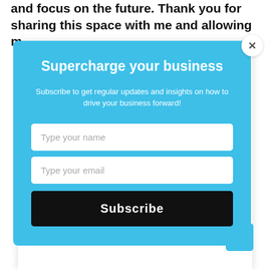and focus on the future. Thank you for sharing this space with me and allowing m
Supercharge your business
Subscribe to get regular updates and insights on how to drive your business forward!
Type your name
Type your email
Subscribe